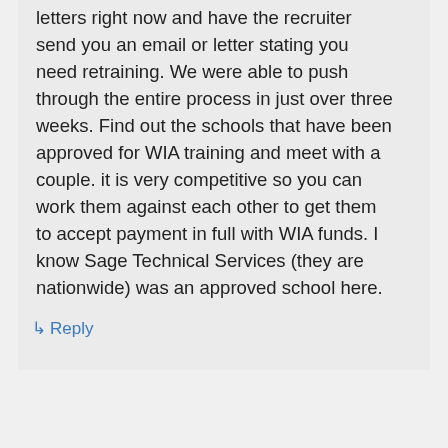letters right now and have the recruiter send you an email or letter stating you need retraining. We were able to push through the entire process in just over three weeks. Find out the schools that have been approved for WIA training and meet with a couple. it is very competitive so you can work them against each other to get them to accept payment in full with WIA funds. I know Sage Technical Services (they are nationwide) was an approved school here.
↳ Reply